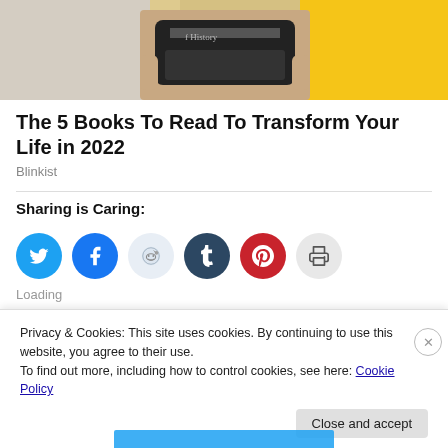[Figure (photo): Person holding a book, cropped to show hands and partial torso against a yellow and gray background. Book appears to show text 'f History'.]
The 5 Books To Read To Transform Your Life in 2022
Blinkist
Sharing is Caring:
[Figure (infographic): Row of social sharing icon buttons: Twitter (blue), Facebook (blue), Reddit (light blue), Tumblr (dark blue), Pinterest (red), Print (gray)]
Loading
Privacy & Cookies: This site uses cookies. By continuing to use this website, you agree to their use.
To find out more, including how to control cookies, see here: Cookie Policy
Close and accept